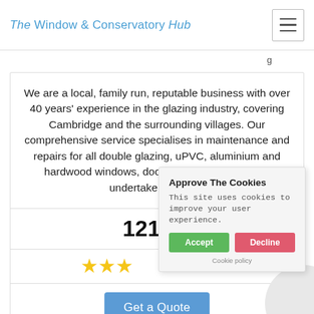The Window & Conservatory Hub
We are a local, family run, reputable business with over 40 years' experience in the glazing industry, covering Cambridge and the surrounding villages. Our comprehensive service specialises in maintenance and repairs for all double glazing, uPVC, aluminium and hardwood windows, doors and shop fronts. We undertake work fo...
121.41
[Figure (other): Three gold/yellow star rating icons]
Get a Quote
Approve The Cookies
This site uses cookies to improve your user experience.
Accept | Decline
Cookie policy